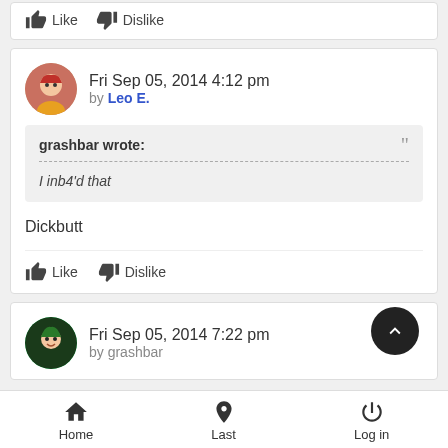Like  Dislike
Fri Sep 05, 2014 4:12 pm by Leo E.
grashbar wrote:
I inb4'd that
Dickbutt
Like  Dislike
Fri Sep 05, 2014 7:22 pm by grashbar
Home  Last  Log in